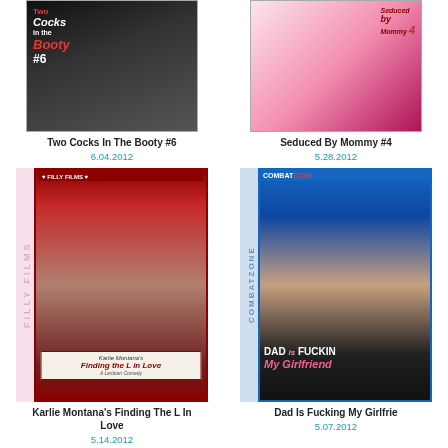[Figure (photo): DVD cover for 'Two Cocks In The Booty #6']
Two Cocks In The Booty #6
6.04.2012
[Figure (photo): DVD cover for 'Seduced By Mommy #4']
Seduced By Mommy #4
5.28.2012
[Figure (photo): DVD cover for 'Karlie Montana's Finding The L In Love', Filly Films]
Karlie Montana's Finding The L In Love
5.14.2012
[Figure (photo): DVD cover for 'Dad Is Fucking My Girlfriend', Combat Zone]
Dad Is Fucking My Girlfrie
5.07.2012
[Figure (photo): Combat Zone DVD cover (bottom left, partially visible)]
[Figure (photo): Combat Zone DVD cover (bottom right, partially visible)]